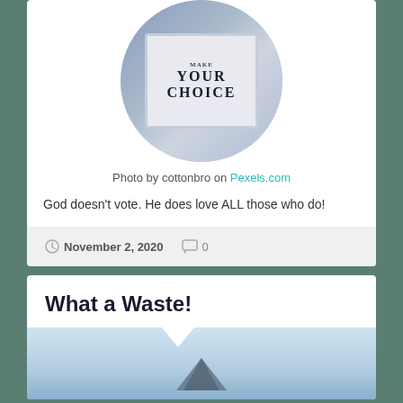[Figure (photo): Circular cropped photo showing a lightbox sign reading 'MAKE YOUR CHOICE' held by a person, with the text partially visible at top.]
Photo by cottonbro on Pexels.com
God doesn't vote. He does love ALL those who do!
November 2, 2020  0
What a Waste!
[Figure (photo): Partial view of a blue-sky outdoor photo, beginning of a new article section.]